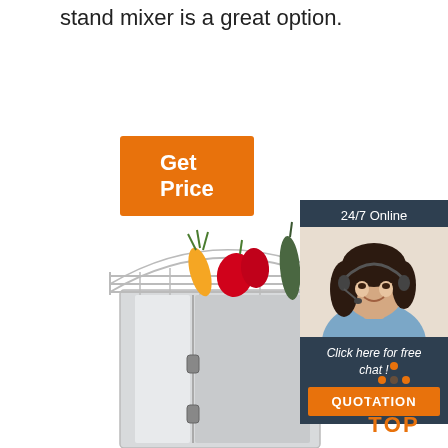stand mixer is a great option.
[Figure (other): Orange 'Get Price' button]
[Figure (other): 24/7 Online chat support widget with photo of female customer service agent wearing headset, 'Click here for free chat!' text, and orange QUOTATION button]
[Figure (photo): Commercial refrigerator/cooler appliance with wire rack on top holding vegetables including carrot, red peppers, and zucchini]
[Figure (other): Orange 'TOP' button with dotted triangle arrow pointing up]